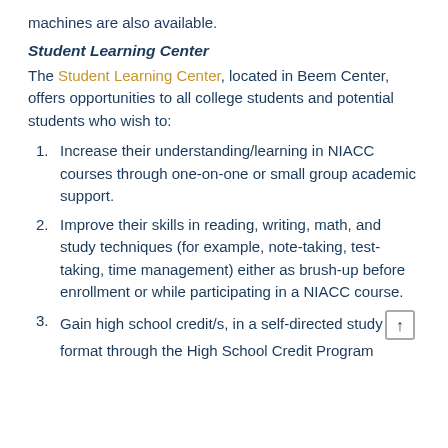machines are also available.
Student Learning Center
The Student Learning Center, located in Beem Center, offers opportunities to all college students and potential students who wish to:
Increase their understanding/learning in NIACC courses through one-on-one or small group academic support.
Improve their skills in reading, writing, math, and study techniques (for example, note-taking, test-taking, time management) either as brush-up before enrollment or while participating in a NIACC course.
Gain high school credit/s, in a self-directed study format through the High School Credit Program